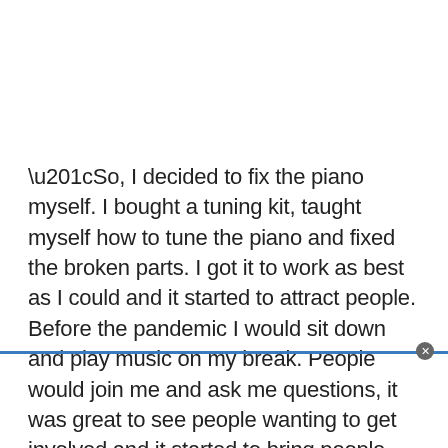“So, I decided to fix the piano myself. I bought a tuning kit, taught myself how to tune the piano and fixed the broken parts. I got it to work as best as I could and it started to attract people. Before the pandemic I would sit down and play music on my break. People would join me and ask me questions, it was great to see people wanting to get involved and it started to bring people out of the isolation of their rooms.”